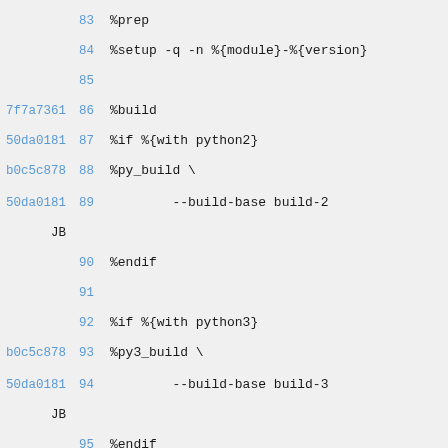83  %prep
84  %setup -q -n %{module}-%{version}
85
7f7a7361 86  %build
50da0181 87  %if %{with python2}
b0c5c878 88  %py_build \
50da0181 JB 89       --build-base build-2
90  %endif
91
92  %if %{with python3}
b0c5c878 93  %py3_build \
50da0181 JB 94       --build-base build-3
95  %endif
7f7a7361 96
c851376d 97  %install
98  rm -rf $RPM_BUILD_ROOT